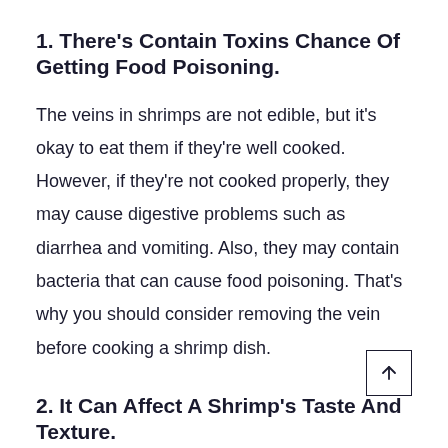1. There's Contain Toxins Chance Of Getting Food Poisoning.
The veins in shrimps are not edible, but it's okay to eat them if they're well cooked. However, if they're not cooked properly, they may cause digestive problems such as diarrhea and vomiting. Also, they may contain bacteria that can cause food poisoning. That's why you should consider removing the vein before cooking a shrimp dish.
2. It Can Affect A Shrimp's Taste And Texture.
If you don't remove the vein before f...